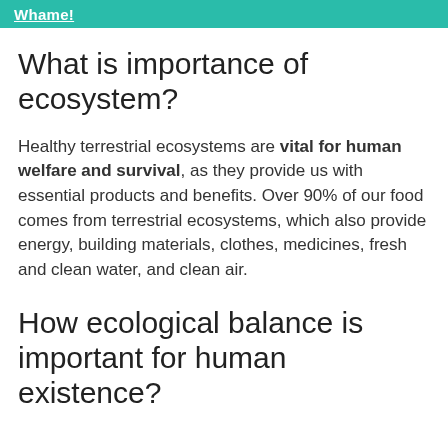Whame!
What is importance of ecosystem?
Healthy terrestrial ecosystems are vital for human welfare and survival, as they provide us with essential products and benefits. Over 90% of our food comes from terrestrial ecosystems, which also provide energy, building materials, clothes, medicines, fresh and clean water, and clean air.
How ecological balance is important for human existence?